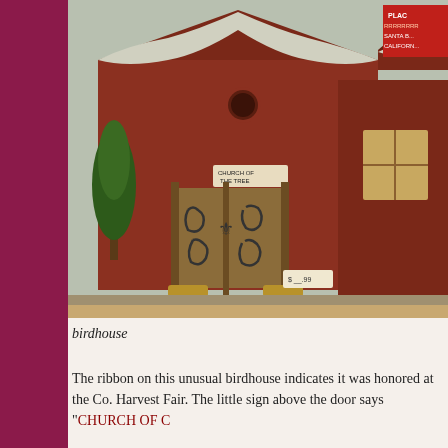[Figure (photo): A decorative birdhouse model resembling a red barn/church building with wooden gate doors featuring ornamental metalwork, snow on the roof, small trees, and a sign reading 'CHURCH OF THE TREE'. A red sign in the upper right partially shows 'PLACE / SANTA B... / CALIFORN...'.]
birdhouse
The ribbon on this unusual birdhouse indicates it was honored at the Co. Harvest Fair. The little sign above the door says "CHURCH OF C..."